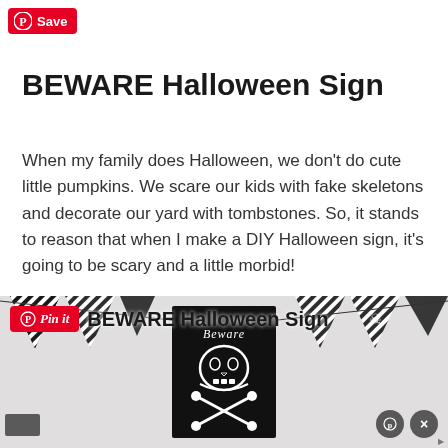[Figure (logo): Pinterest Save button with red background and white P logo and 'Save' text]
BEWARE Halloween Sign
When my family does Halloween, we don't do cute little pumpkins. We scare our kids with fake skeletons and decorate our yard with tombstones. So, it stands to reason that when I make a DIY Halloween sign, it's going to be scary and a little morbid!
[Figure (photo): Photo of a black wooden BEWARE Halloween sign with skull and crossbones, surrounded by black and white striped bunting flags. A 'Pin it' button overlay appears in the top-left with the text 'BEWARE Halloween Sign'. Small dark circular control buttons appear bottom right.]